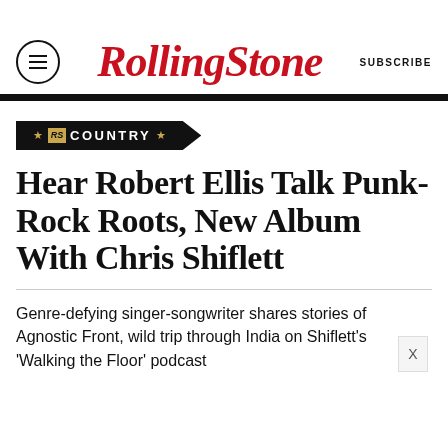Rolling Stone
[Figure (logo): Rolling Stone magazine logo in red italic script font, centered in header with hamburger menu icon on left and SUBSCRIBE text on right]
COUNTRY
Hear Robert Ellis Talk Punk-Rock Roots, New Album With Chris Shiflett
Genre-defying singer-songwriter shares stories of Agnostic Front, wild trip through India on Shiflett's 'Walking the Floor' podcast